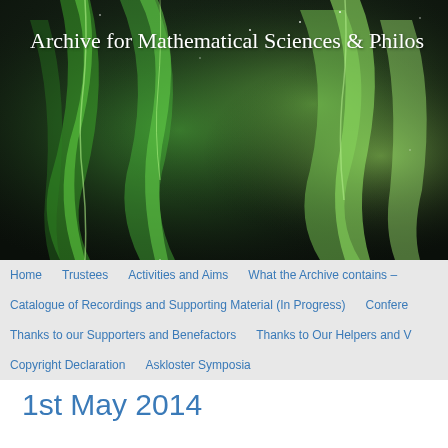[Figure (photo): Aurora borealis (northern lights) photograph used as website header background, showing green curtains of light against a dark sky]
Archive for Mathematical Sciences & Philos
Home
Trustees
Activities and Aims
What the Archive contains –
Catalogue of Recordings and Supporting Material (In Progress)
Confere
Thanks to our Supporters and Benefactors
Thanks to Our Helpers and V
Copyright Declaration
Askloster Symposia
1st May 2014